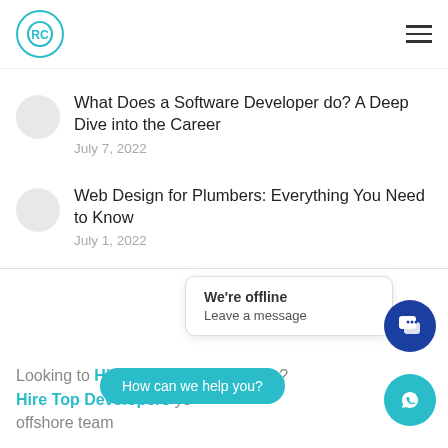RC logo and hamburger menu
What Does a Software Developer do? A Deep Dive into the Career
July 7, 2022
Web Design for Plumbers: Everything You Need to Know
July 1, 2022
We're offline
Leave a message
Looking to Hire Remote Developers? Hire Top Developers offshore team
How can we help you?